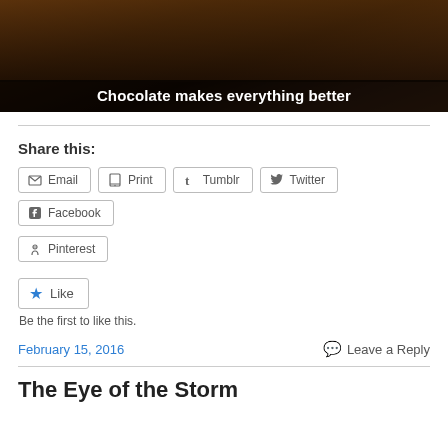[Figure (photo): Dark photo of people lounging/socializing with text overlay 'Chocolate makes everything better']
Share this:
Email  Print  Tumblr  Twitter  Facebook  Pinterest
Like
Be the first to like this.
February 15, 2016
Leave a Reply
The Eye of the Storm